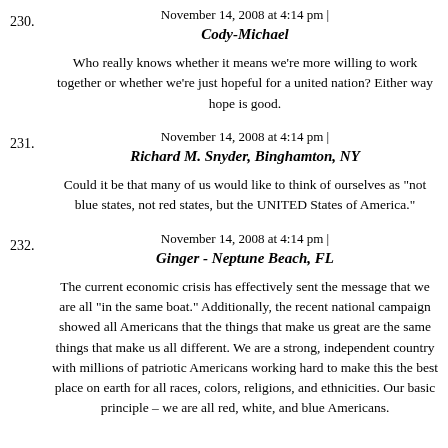November 14, 2008 at 4:14 pm |
230. Cody-Michael
Who really knows whether it means we're more willing to work together or whether we're just hopeful for a united nation? Either way hope is good.
November 14, 2008 at 4:14 pm |
231. Richard M. Snyder, Binghamton, NY
Could it be that many of us would like to think of ourselves as "not blue states, not red states, but the UNITED States of America."
November 14, 2008 at 4:14 pm |
232. Ginger - Neptune Beach, FL
The current economic crisis has effectively sent the message that we are all "in the same boat." Additionally, the recent national campaign showed all Americans that the things that make us great are the same things that make us all different. We are a strong, independent country with millions of patriotic Americans working hard to make this the best place on earth for all races, colors, religions, and ethnicities. Our basic principle – we are all red, white, and blue Americans.